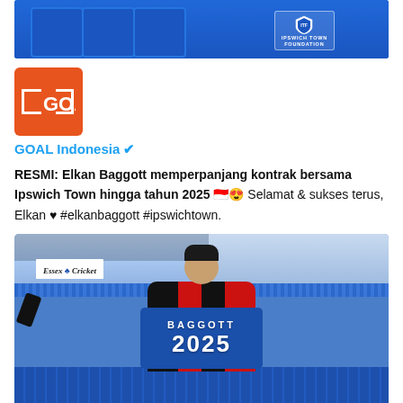[Figure (photo): Top portion of a social media post showing Ipswich Town Foundation branding with blue shirts/jerseys in the background]
[Figure (logo): GOAL logo - orange/red square background with white bracket and GOAL text]
GOAL Indonesia ✔
RESMI: Elkan Baggott memperpanjang kontrak bersama Ipswich Town hingga tahun 2025 🇮🇩😍 Selamat & sukses terus, Elkan ♥ #elkanbaggott #ipswichtown.
[Figure (photo): Elkan Baggott standing at Ipswich Town stadium wearing a black and red striped Ipswich Town jersey, holding up a blue shirt that reads BAGGOTT 2025. Essex Cricket banner visible in the background.]